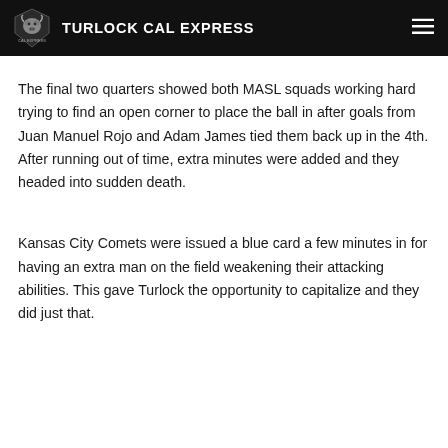TURLOCK CAL EXPRESS
The final two quarters showed both MASL squads working hard trying to find an open corner to place the ball in after goals from Juan Manuel Rojo and Adam James tied them back up in the 4th. After running out of time, extra minutes were added and they headed into sudden death.
Kansas City Comets were issued a blue card a few minutes in for having an extra man on the field weakening their attacking abilities. This gave Turlock the opportunity to capitalize and they did just that.